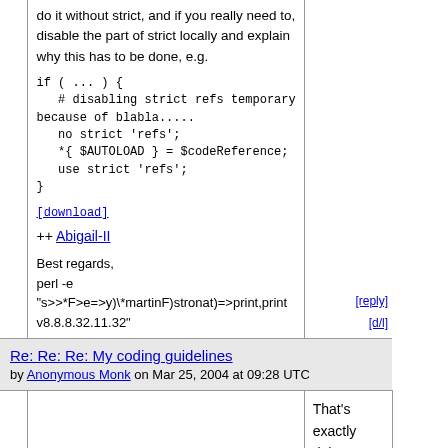do it without strict, and if you really need to, disable the part of strict locally and explain why this has to be done, e.g.
[download]
++ Abigail-II
Best regards,
perl -e
"s>>*F>e=>y)\*martinF)stronat)=>print,print v8.8.8.32.11.32"
[reply] [d/l]
Re: Re: Re: My coding guidelines
by Anonymous Monk on Mar 25, 2004 at 09:28 UTC
That's exactly right. use strict always does not mean you shouldn't no strict when appropriate :)
[reply]